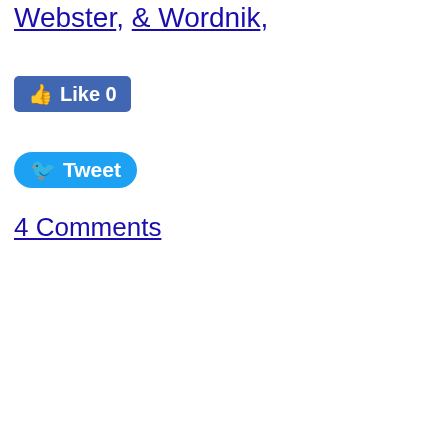Webster, & Wordnik,
[Figure (other): Facebook Like button showing 'Like 0']
[Figure (other): Twitter Tweet button]
4 Comments
Bad Boys
Ball
Ballot
Balm
Baloney
Bambino
Bamboozle
Ban
Bandana
Bandy
Barmy
Barnacle Goose
Barracuda
Bash
Bat
Batty
Bauble
Bean Idioms
Beanie
Beanpole
Beard
Beat